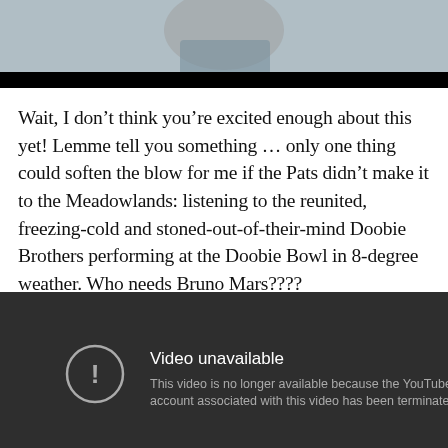[Figure (photo): Partial view of a video thumbnail showing a person against a sky background with a black letterbox bar at the bottom]
Wait, I don't think you're excited enough about this yet! Lemme tell you something … only one thing could soften the blow for me if the Pats didn't make it to the Meadowlands: listening to the reunited, freezing-cold and stoned-out-of-their-mind Doobie Brothers performing at the Doobie Bowl in 8-degree weather. Who needs Bruno Mars????
[Figure (screenshot): YouTube 'Video unavailable' error screen on dark background with exclamation icon. Text reads: 'Video unavailable. This video is no longer available because the YouTube account associated with this video has been terminated.']